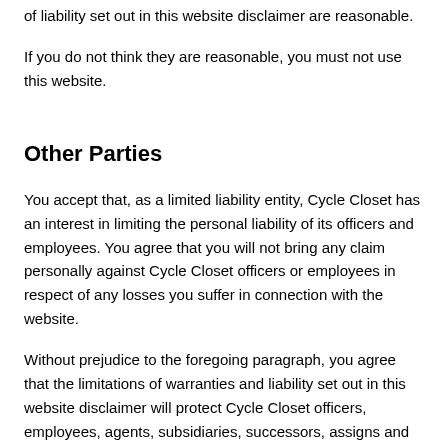of liability set out in this website disclaimer are reasonable.
If you do not think they are reasonable, you must not use this website.
Other Parties
You accept that, as a limited liability entity, Cycle Closet has an interest in limiting the personal liability of its officers and employees. You agree that you will not bring any claim personally against Cycle Closet officers or employees in respect of any losses you suffer in connection with the website.
Without prejudice to the foregoing paragraph, you agree that the limitations of warranties and liability set out in this website disclaimer will protect Cycle Closet officers, employees, agents, subsidiaries, successors, assigns and sub-contractors as well as Cycle Closet.